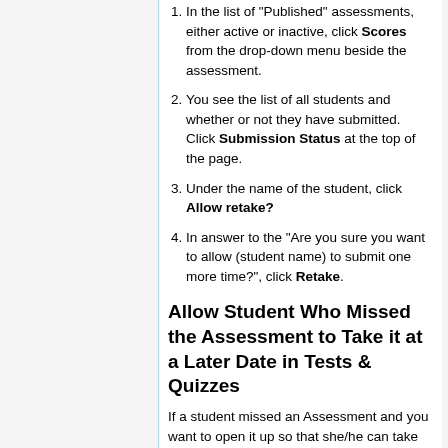In the list of "Published" assessments, either active or inactive, click Scores from the drop-down menu beside the assessment.
You see the list of all students and whether or not they have submitted. Click Submission Status at the top of the page.
Under the name of the student, click Allow retake?
In answer to the "Are you sure you want to allow (student name) to submit one more time?", click Retake.
Allow Student Who Missed the Assessment to Take it at a Later Date in Tests & Quizzes
If a student missed an Assessment and you want to open it up so that she/he can take it, go into the inactive assessment and change the settings so that the dates available match what you want to provide for this student. Set any open dates and close dates you want to provide for this student.